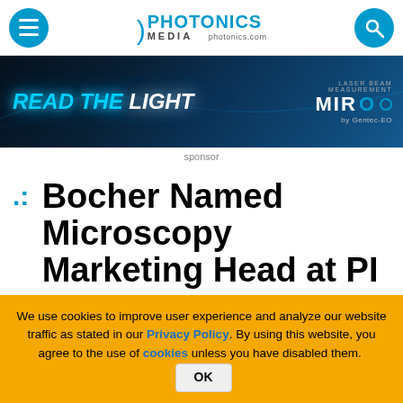Photonics Media photonics.com
[Figure (other): Photonics Media logo with hamburger menu and search icon]
[Figure (other): Laser beam measurement advertisement banner: READ THE LIGHT - MIRO by Gentec-EO]
sponsor
.: Bocher Named Microscopy Marketing Head at PI
We use cookies to improve user experience and analyze our website traffic as stated in our Privacy Policy. By using this website, you agree to the use of cookies unless you have disabled them. OK